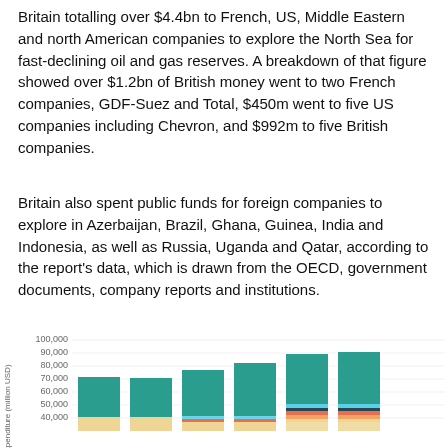Britain totalling over $4.4bn to French, US, Middle Eastern and north American companies to explore the North Sea for fast-declining oil and gas reserves. A breakdown of that figure showed over $1.2bn of British money went to two French companies, GDF-Suez and Total, $450m went to five US companies including Chevron, and $992m to five British companies.
Britain also spent public funds for foreign companies to explore in Azerbaijan, Brazil, Ghana, Guinea, India and Indonesia, as well as Russia, Uganda and Qatar, according to the report's data, which is drawn from the OECD, government documents, company reports and institutions.
[Figure (stacked-bar-chart): ]